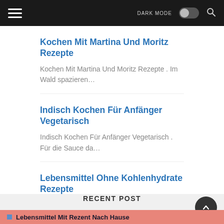DARK MODE [toggle] [search]
Kochen Mit Martina Und Moritz Rezepte
Kochen Mit Martina Und Moritz Rezepte . Im Wald spazieren…
Indisch Kochen Für Anfänger Vegetarisch
Indisch Kochen Für Anfänger Vegetarisch . Für die Sauce da…
Lebensmittel Ohne Kohlenhydrate Rezepte
Abendbrot genießen ohne Kohlenhydrate. Japanische Gemüsepf…
RECENT POST
Lebensmittel Mit Rezent Nach Hause